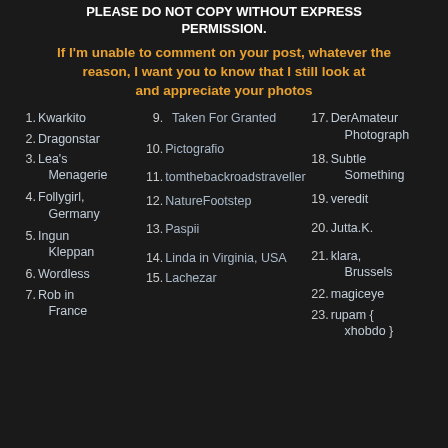PLEASE DO NOT COPY WITHOUT EXPRESS PERMISSION.
If I'm unable to comment on your post, whatever the reason, I want you to know that I still look at and appreciate your photos
1. Kwarkito
2. Dragonstar
3. Lea's Menagerie
4. Follygirl, Germany
5. Ingun Kleppan
6. Wordless
7. Rob in France
9. Taken For Granted
10. Pictografio
11. tomthebackroadstraveller
12. NatureFootstep
13. Paspii
14. Linda in Virginia, USA
15. Lachezar
17. DerAmateur Photograph
18. Subtle Something
19. veredit
20. Jutta.K.
21. klara, Brussels
22. magiceye
23. rupam { xhobdo }